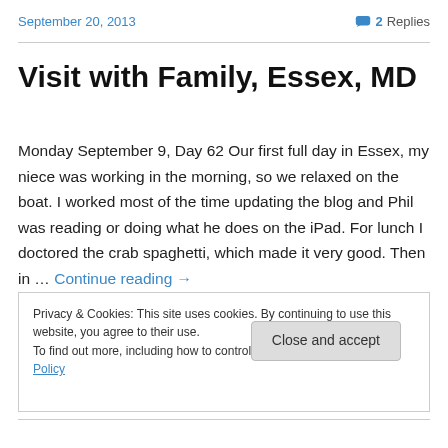September 20, 2013   2 Replies
Visit with Family, Essex, MD
Monday September 9, Day 62 Our first full day in Essex, my niece was working in the morning, so we relaxed on the boat. I worked most of the time updating the blog and Phil was reading or doing what he does on the iPad. For lunch I doctored the crab spaghetti, which made it very good. Then in … Continue reading →
Privacy & Cookies: This site uses cookies. By continuing to use this website, you agree to their use.
To find out more, including how to control cookies, see here: Cookie Policy
Close and accept